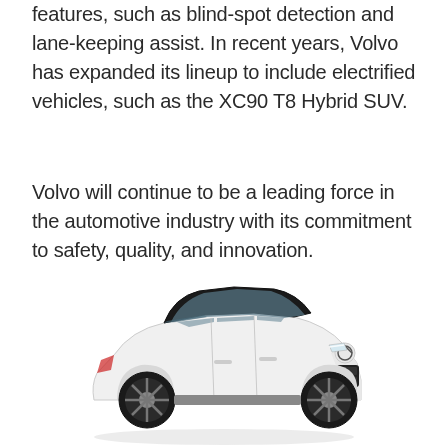features, such as blind-spot detection and lane-keeping assist. In recent years, Volvo has expanded its lineup to include electrified vehicles, such as the XC90 T8 Hybrid SUV.
Volvo will continue to be a leading force in the automotive industry with its commitment to safety, quality, and innovation.
[Figure (photo): A white Volvo XC40 SUV photographed from a three-quarter front angle, showing the front grille with Volvo logo, black roof, black alloy wheels, and sleek body styling.]